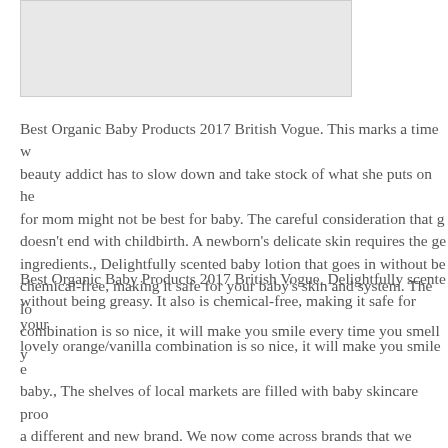[Figure (photo): Partial image at top of page, light gray placeholder area]
Best Organic Baby Products 2017 British Vogue. This marks a time when a beauty addict has to slow down and take stock of what she puts on her skin, for mom might not be best for baby. The careful consideration that goes into it doesn't end with childbirth. A newborn's delicate skin requires the gentlest ingredients., Delightfully scented baby lotion that goes in without being chemical-free, making it safe for your baby's skin and system. The lovely combination is so nice, it will make you smile every time you smell y
Best Organic Baby Products 2017 British Vogue. Delightfully scented without being greasy. It also is chemical-free, making it safe for your lovely orange/vanilla combination is so nice, it will make you smile e baby., The shelves of local markets are filled with baby skincare proo a different and new brand. We now come across brands that we really when all the variety overwhelms us, the choice becomes tough because super sensitive and you never know which creams react and which fr or makes their.